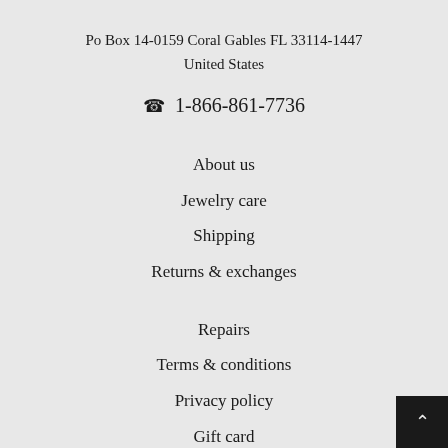Po Box 14-0159 Coral Gables FL 33114-1447
United States
☎ 1-866-861-7736
About us
Jewelry care
Shipping
Returns & exchanges
Repairs
Terms & conditions
Privacy policy
Gift card